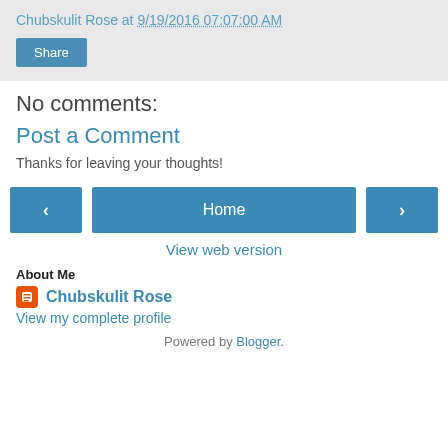Chubskulit Rose at 9/19/2016 07:07:00 AM
Share
No comments:
Post a Comment
Thanks for leaving your thoughts!
< Home >
View web version
About Me
Chubskulit Rose
View my complete profile
Powered by Blogger.